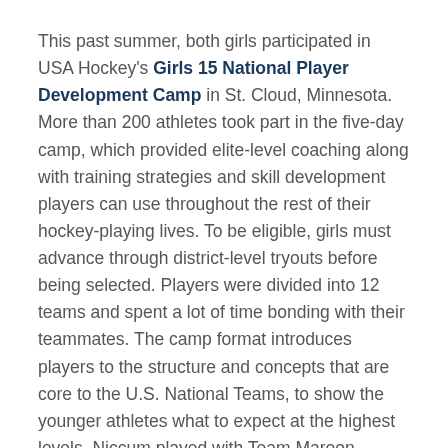This past summer, both girls participated in USA Hockey's Girls 15 National Player Development Camp in St. Cloud, Minnesota. More than 200 athletes took part in the five-day camp, which provided elite-level coaching along with training strategies and skill development players can use throughout the rest of their hockey-playing lives. To be eligible, girls must advance through district-level tryouts before being selected. Players were divided into 12 teams and spent a lot of time bonding with their teammates. The camp format introduces players to the structure and concepts that are core to the U.S. National Teams, to show the younger athletes what to expect at the highest levels. Niccum played with Team Maroon, Gagliano for the White squad.
Gagliano wasn't surprised at the caliber of competition at the camp.